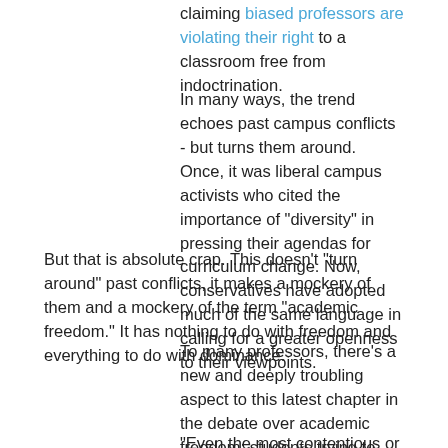claiming biased professors are violating their right to a classroom free from indoctrination.
In many ways, the trend echoes past campus conflicts - but turns them around. Once, it was liberal campus activists who cited the importance of "diversity" in pressing their agendas for curriculum change. Now, conservatives have adopted much of the same language in calling for a greater openness to their viewpoints.
But that is absolute crap. This doesn't "turn around" past conflicts, it makes a mockery of them and a mockery of the term "academic freedom." It has nothing to do with freedom and everything to do with dominance.
To many professors, there's a new and deeply troubling aspect to this latest chapter in the debate over academic freedom: students trying to dictate what they don't want to be taught.
"Even the most contentious or disaffected of students in the '60s or early '70s never really